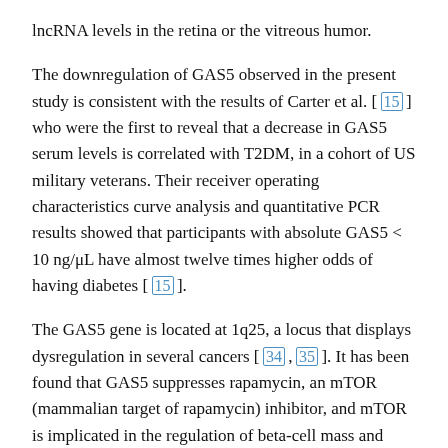lncRNA levels in the retina or the vitreous humor.
The downregulation of GAS5 observed in the present study is consistent with the results of Carter et al. [ 15 ] who were the first to reveal that a decrease in GAS5 serum levels is correlated with T2DM, in a cohort of US military veterans. Their receiver operating characteristics curve analysis and quantitative PCR results showed that participants with absolute GAS5 < 10 ng/μL have almost twelve times higher odds of having diabetes [ 15 ].
The GAS5 gene is located at 1q25, a locus that displays dysregulation in several cancers [ 34 , 35 ]. It has been found that GAS5 suppresses rapamycin, an mTOR (mammalian target of rapamycin) inhibitor, and mTOR is implicated in the regulation of beta-cell mass and consequently in T2DM development [ 36 ].
Collectively, the current findings indicate cell-specific and